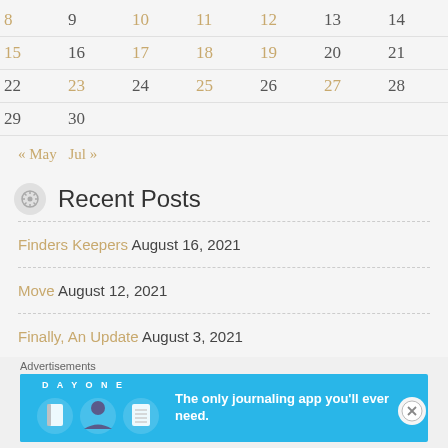| 8 | 9 | 10 | 11 | 12 | 13 | 14 |
| 15 | 16 | 17 | 18 | 19 | 20 | 21 |
| 22 | 23 | 24 | 25 | 26 | 27 | 28 |
| 29 | 30 |  |  |  |  |  |
« May  Jul »
Recent Posts
Finders Keepers August 16, 2021
Move August 12, 2021
Finally, An Update August 3, 2021
Advertisements
[Figure (infographic): Day One journaling app advertisement banner with blue background, icons and text: The only journaling app you'll ever need.]